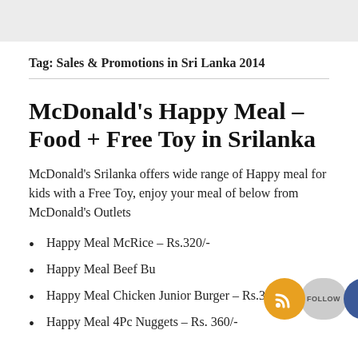Tag: Sales & Promotions in Sri Lanka 2014
McDonald's Happy Meal – Food + Free Toy in Srilanka
McDonald's Srilanka offers wide range of Happy meal for kids with a Free Toy, enjoy your meal of below from McDonald's Outlets
Happy Meal McRice – Rs.320/-
Happy Meal Beef Bu…
Happy Meal Chicken Junior Burger – Rs.360/-
Happy Meal 4Pc Nuggets – Rs. 360/-